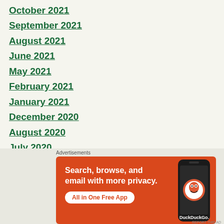October 2021
September 2021
August 2021
June 2021
May 2021
February 2021
January 2021
December 2020
August 2020
July 2020
June 2020
May 2020
[Figure (screenshot): DuckDuckGo advertisement banner with orange background showing phone graphic and text: Search, browse, and email with more privacy. All in One Free App. DuckDuckGo.]